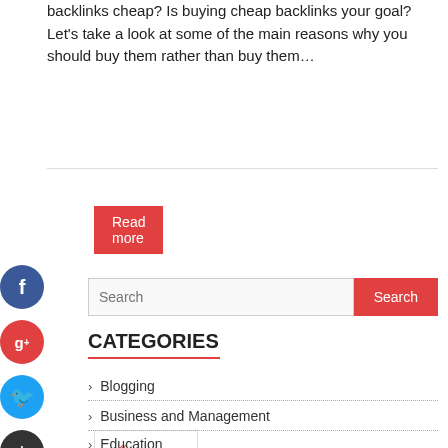backlinks cheap? Is buying cheap backlinks your goal? Let's take a look at some of the main reasons why you should buy them rather than buy them…
Read more
« Previous
Search
CATEGORIES
Blogging
Business and Management
Education